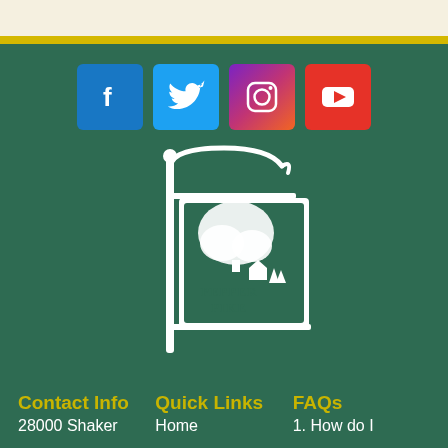[Figure (logo): Pepper Pike city logo — decorative iron signpost with hanging sign showing tree silhouette and text PEPPER PIKE, white on dark green]
[Figure (infographic): Social media icons row: Facebook (blue), Twitter (light blue), Instagram (gradient purple-red), YouTube (red)]
Contact Info
Quick Links
FAQs
28000 Shaker
Home
1. How do I